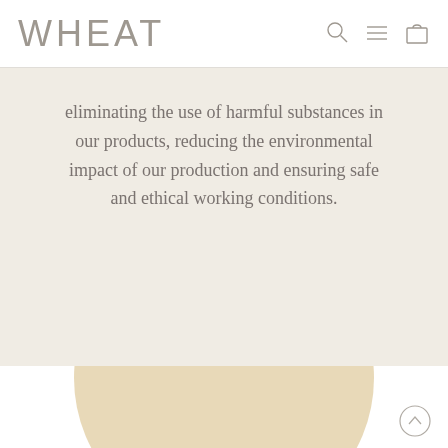WHEAT
eliminating the use of harmful substances in our products, reducing the environmental impact of our production and ensuring safe and ethical working conditions.
[Figure (illustration): A large beige/cream colored circle (partial, cropped at bottom) on a white background, representing a decorative image element on the webpage.]